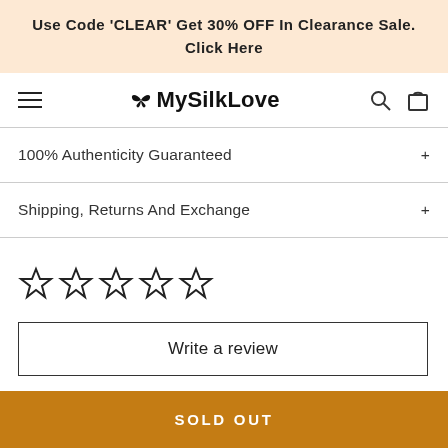Use Code 'CLEAR' Get 30% OFF In Clearance Sale. Click Here
MySilkLove
100% Authenticity Guaranteed
Shipping, Returns And Exchange
☆☆☆☆☆
Write a review
SOLD OUT